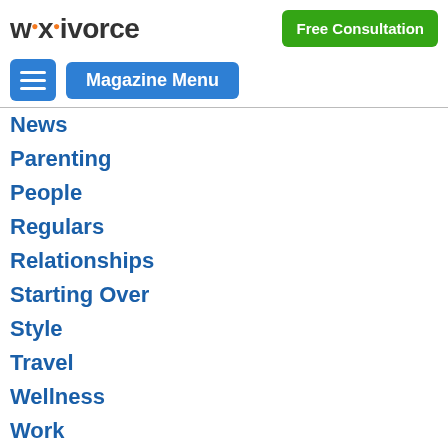[Figure (logo): Wikivorce logo with orange dots above i characters]
Free Consultation
[Figure (screenshot): Blue hamburger menu icon button]
Magazine Menu
News
Parenting
People
Regulars
Relationships
Starting Over
Style
Travel
Wellness
Work
Hint: Use blue buttons at top of page to open